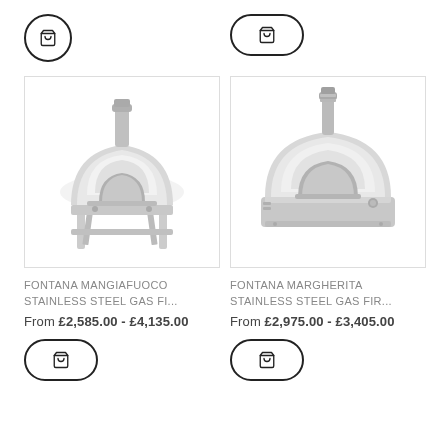[Figure (screenshot): Cart button (circle outline) for first product, top-left]
[Figure (screenshot): Cart button (pill outline) for second product, top-right]
[Figure (photo): Fontana Mangiafuoco stainless steel gas fired pizza oven on stand]
[Figure (photo): Fontana Margherita stainless steel gas fired pizza oven tabletop]
FONTANA MANGIAFUOCO STAINLESS STEEL GAS FI...
FONTANA MARGHERITA STAINLESS STEEL GAS FIR...
From £2,585.00 - £4,135.00
From £2,975.00 - £3,405.00
[Figure (screenshot): Cart button (pill outline) for first product, bottom-left]
[Figure (screenshot): Cart button (pill outline) for second product, bottom-right]